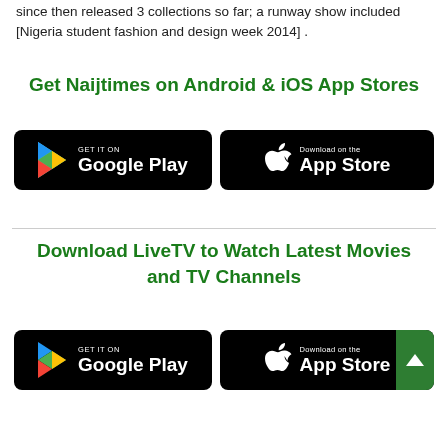since then released 3 collections so far; a runway show included [Nigeria student fashion and design week 2014] .
Get Naijtimes on Android & iOS App Stores
[Figure (other): Google Play store badge - GET IT ON Google Play]
[Figure (other): Apple App Store badge - Download on the App Store]
Download LiveTV to Watch Latest Movies and TV Channels
[Figure (other): Google Play store badge - GET IT ON Google Play]
[Figure (other): Apple App Store badge - Download on the App Store]